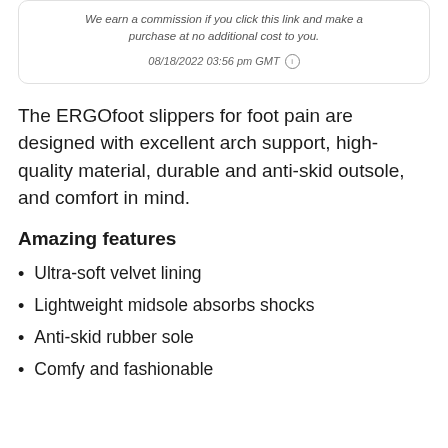We earn a commission if you click this link and make a purchase at no additional cost to you.
08/18/2022 03:56 pm GMT
The ERGOfoot slippers for foot pain are designed with excellent arch support, high-quality material, durable and anti-skid outsole, and comfort in mind.
Amazing features
Ultra-soft velvet lining
Lightweight midsole absorbs shocks
Anti-skid rubber sole
Comfy and fashionable